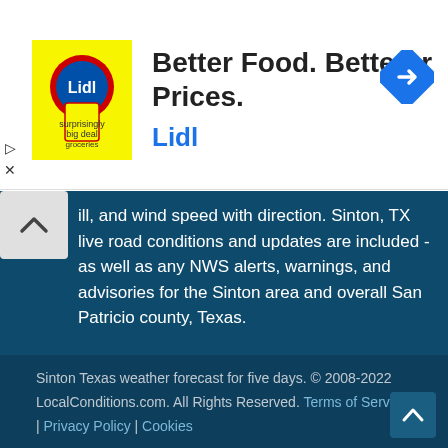[Figure (logo): Lidl advertisement banner with yellow logo box, headline 'Better Food. Betterer Prices.' and blue 'Lidl' brand text, with a blue navigation/directions diamond icon on the right]
ill, and wind speed with direction. Sinton, TX live road conditions and updates are included - as well as any NWS alerts, warnings, and advisories for the Sinton area and overall San Patricio county, Texas.
Sinton Texas weather forecast for five days. © 2008-2022 LocalConditions.com. All Rights Reserved. Terms of Service | Privacy Policy | Cookies